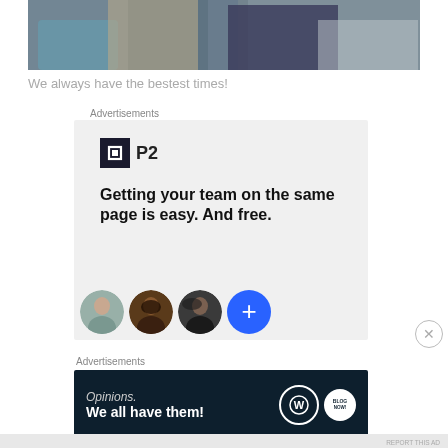[Figure (photo): Partial photo of people sitting on a couch, cropped at the bottom showing torsos and hands]
We always have the bestest times!
Advertisements
[Figure (infographic): P2 advertisement: logo with P2 text, headline 'Getting your team on the same page is easy. And free.' with three avatar photos and a blue plus button]
Advertisements
[Figure (infographic): Dark navy advertisement banner: 'Opinions. We all have them!' with WordPress and blog icons on the right]